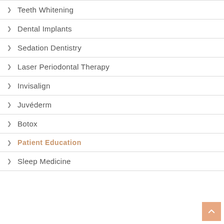Teeth Whitening
Dental Implants
Sedation Dentistry
Laser Periodontal Therapy
Invisalign
Juvéderm
Botox
Patient Education
Sleep Medicine